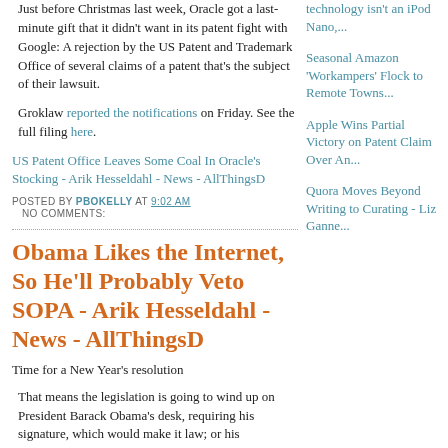Just before Christmas last week, Oracle got a last-minute gift that it didn't want in its patent fight with Google: A rejection by the US Patent and Trademark Office of several claims of a patent that's the subject of their lawsuit.
Groklaw reported the notifications on Friday. See the full filing here.
US Patent Office Leaves Some Coal In Oracle's Stocking - Arik Hesseldahl - News - AllThingsD
POSTED BY PBOKELLY AT 9:02 AM
NO COMMENTS:
Obama Likes the Internet, So He'll Probably Veto SOPA - Arik Hesseldahl - News - AllThingsD
Time for a New Year's resolution
That means the legislation is going to wind up on President Barack Obama's desk, requiring his signature, which would make it law; or his
technology isn't an iPod Nano,...
Seasonal Amazon 'Workampers' Flock to Remote Towns...
Apple Wins Partial Victory on Patent Claim Over An...
Quora Moves Beyond Writing to Curating - Liz Ganne...